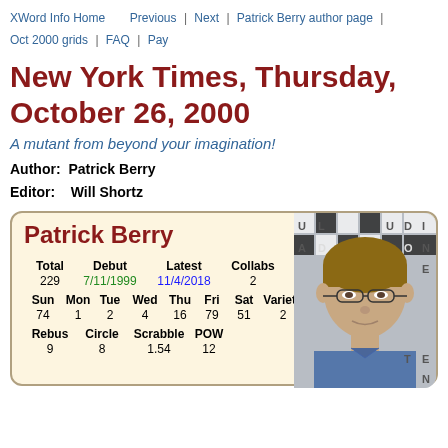XWord Info Home | Previous | Next | Patrick Berry author page | Oct 2000 grids | FAQ | Pay
New York Times, Thursday, October 26, 2000
A mutant from beyond your imagination!
Author: Patrick Berry
Editor: Will Shortz
[Figure (infographic): Patrick Berry author card with photo, puzzle stats: Total 229, Debut 7/11/1999, Latest 11/4/2018, Collabs 2, Sun 74, Mon 1, Tue 2, Wed 4, Thu 16, Fri 79, Sat 51, Variety 2, Rebus 9, Circle 8, Scrabble 1.54, POW 12]